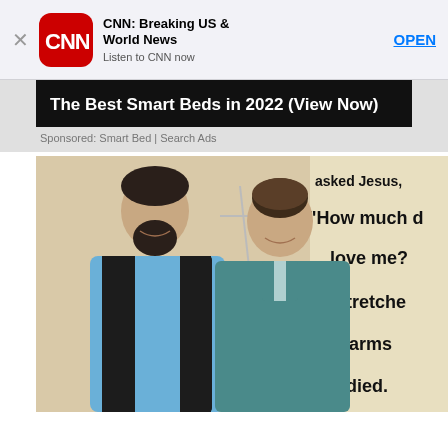[Figure (screenshot): CNN app advertisement banner with CNN logo, title 'CNN: Breaking US & World News', subtitle 'Listen to CNN now', and OPEN button]
[Figure (screenshot): Smart bed advertisement banner showing text 'The Best Smart Beds in 2022 (View Now)' on dark background]
Sponsored: Smart Bed | Search Ads
[Figure (photo): Photo of a man with a beard wearing a black vest over a blue shirt and a woman in a teal/blue dress standing together in front of a wall with a religious poster reading 'I asked Jesus, How much do love me? He stretched His arms wide and died.']